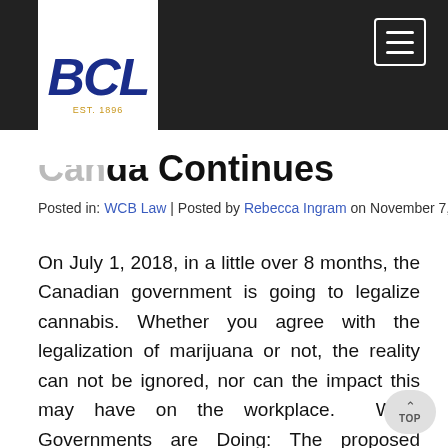[Figure (logo): BCL law firm logo in white box on dark nav bar, blue italic letters BCL with EST. 1896 below]
...da Continues
Posted in: WCB Law | Posted by Rebecca Ingram on November 7, 2017
On July 1, 2018, in a little over 8 months, the Canadian government is going to legalize cannabis. Whether you agree with the legalization of marijuana or not, the reality can not be ignored, nor can the impact this may have on the workplace.  What Governments are Doing: The proposed Cannabis Act requires all Canadian provinces and territories to develop their own regulatory system to support the pending legislation. Last month the Alberta Cannabis Framework was unveiled by the provincial government, setting the stage for the legal and responsible use of marijuana by Albertans. The draft addressed issues like the minimum age limit, buying, selling, growing, possessing, consuming and advertising